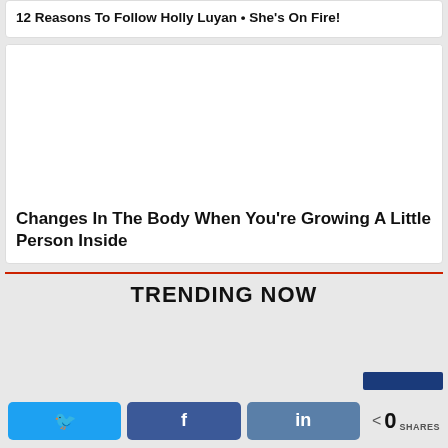12 Reasons To Follow Holly Luyan • She's On Fire!
[Figure (photo): White blank image placeholder for article about body changes during pregnancy]
Changes In The Body When You're Growing A Little Person Inside
TRENDING NOW
0 SHARES